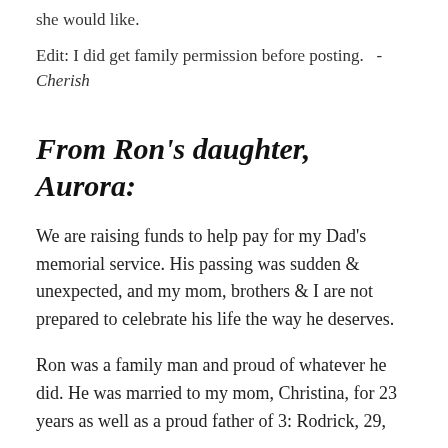she would like.
Edit: I did get family permission before posting.   -
Cherish
From Ron's daughter, Aurora:
We are raising funds to help pay for my Dad's memorial service. His passing was sudden & unexpected, and my mom, brothers & I are not prepared to celebrate his life the way he deserves.
Ron was a family man and proud of whatever he did. He was married to my mom, Christina, for 23 years as well as a proud father of 3: Rodrick, 29,